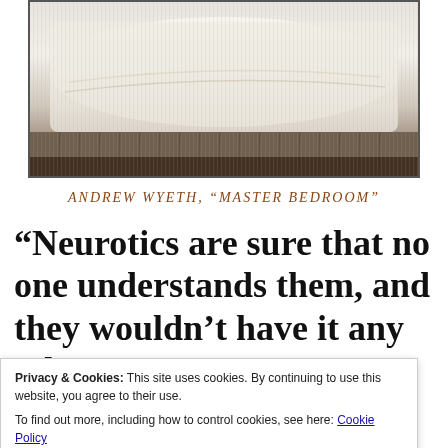[Figure (photo): Black and white photograph of a bed with white lace or fabric bedspread with fringe along the bottom, appearing to be Andrew Wyeth's 'Master Bedroom' painting or a similar image]
ANDREW WYETH, “MASTER BEDROOM”
“Neurotics are sure that no one understands them, and they wouldn’t have it any other
Privacy & Cookies: This site uses cookies. By continuing to use this website, you agree to their use.
To find out more, including how to control cookies, see here: Cookie Policy
Well, I think that my body does not like the antibiotic